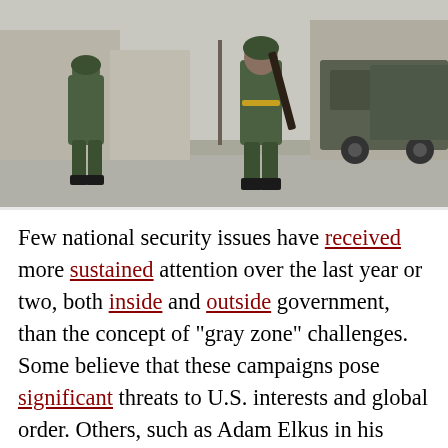[Figure (photo): Military soldiers in green camouflage uniforms standing on a street next to a large military truck. One soldier holds a rifle. Urban setting with trees and buildings in the background.]
Few national security issues have received more sustained attention over the last year or two, both inside and outside government, than the concept of "gray zone" challenges. Some believe that these campaigns pose significant threats to U.S. interests and global order. Others, such as Adam Elkus in his recent War on the Rocks article, worry that we